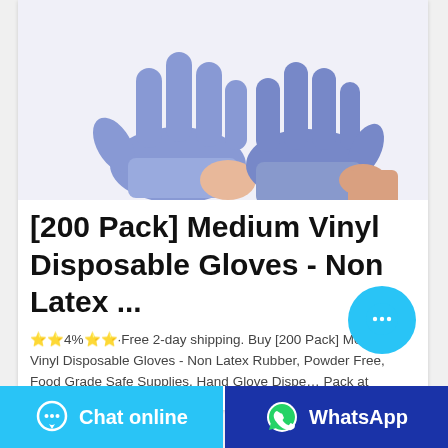[Figure (photo): Hands wearing blue/purple vinyl disposable gloves against a white background]
[200 Pack] Medium Vinyl Disposable Gloves - Non Latex ...
⭐⭐4%⭐⭐·Free 2-day shipping. Buy [200 Pack] Medium Vinyl Disposable Gloves - Non Latex Rubber, Powder Free, Food Grade Safe Supplies, Hand Glove Dispenser Pack at Walmartom
[Figure (other): Floating chat bubble button (cyan circle with ellipsis icon)]
Chat online | WhatsApp